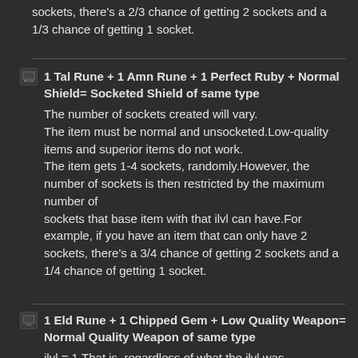sockets, there's a 2/3 chance of getting 2 sockets and a 1/3 chance of getting 1 socket.
1 Tal Rune + 1 Amn Rune + 1 Perfect Ruby + Normal Shield= Socketed Shield of same type
The number of sockets created will vary.
The item must be normal and unsocketed.Low-quality items and superior items do not work.
The item gets 1-4 sockets, randomly.However, the number of sockets is then restricted by the maximum number of
sockets that base item with that ilvl can have.For example, if you have an item that can only have 2 sockets, there's a 3/4 chance of getting 2 sockets and a 1/4 chance of getting 1 socket.
1 Eld Rune + 1 Chipped Gem + Low Quality Weapon= Normal Quality Weapon of same type
ilvl = 1.That is, regardless of what the ilvl was beforehand, it will be set to 1.